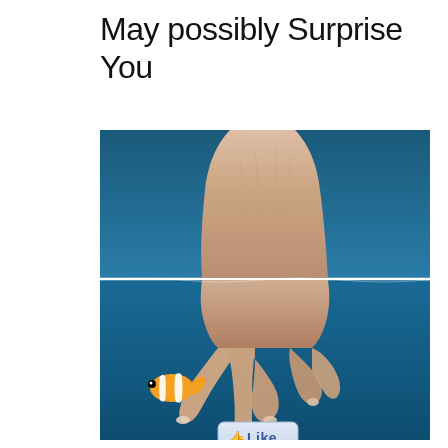May possibly Surprise You
[Figure (photo): A hand pointing downward with index finger extended, shown from above the water line in the upper half (blue background, pale skin tones), and below the water line in the lower half (deeper blue, underwater scene). A clownfish (orange and white, like Nemo) is visible in the lower left, and a Facebook-style 'Like' button appears near the fingertip at the bottom center.]